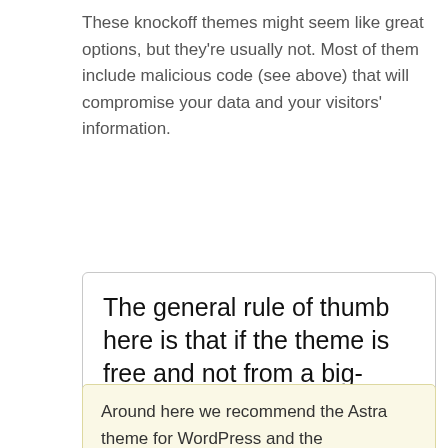These knockoff themes might seem like great options, but they're usually not. Most of them include malicious code (see above) that will compromise your data and your visitors' information.
The general rule of thumb here is that if the theme is free and not from a big-name development company, avoid it. It's just too risky. CLICK TO TWEET
Around here we recommend the Astra theme for WordPress and the Astra Pro plugin (off link) for extra...